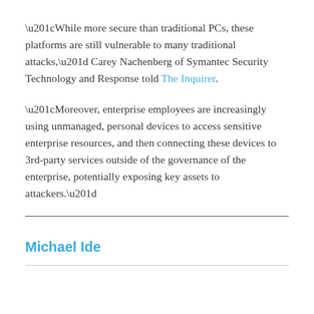“While more secure than traditional PCs, these platforms are still vulnerable to many traditional attacks,” Carey Nachenberg of Symantec Security Technology and Response told The Inquirer.
“Moreover, enterprise employees are increasingly using unmanaged, personal devices to access sensitive enterprise resources, and then connecting these devices to 3rd-party services outside of the governance of the enterprise, potentially exposing key assets to attackers.”
Michael Ide